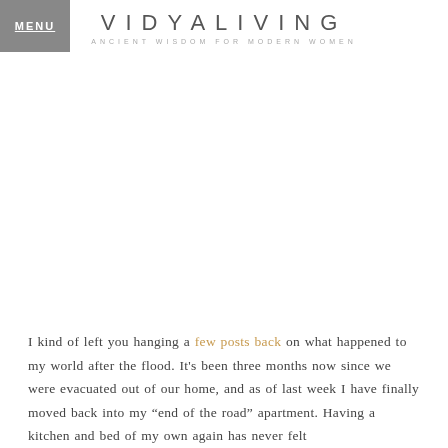MENU
VIDYALIVING
ANCIENT WISDOM FOR MODERN WOMEN
I kind of left you hanging a few posts back on what happened to my world after the flood. It's been three months now since we were evacuated out of our home, and as of last week I have finally moved back into my "end of the road" apartment. Having a kitchen and bed of my own again has never felt